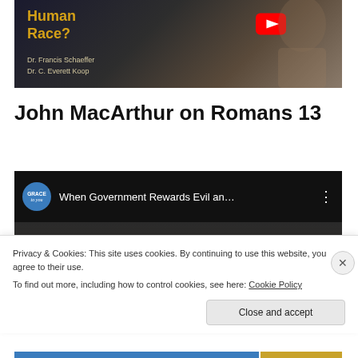[Figure (illustration): Book or video thumbnail with dark background, text 'Human Race?' in gold/yellow, authors Dr. Francis Schaeffer and Dr. C. Everett Koop listed, YouTube play button visible]
John MacArthur on Romans 13
[Figure (screenshot): Embedded YouTube video thumbnail showing 'Grace to You' channel logo and title 'When Government Rewards Evil an...' with a speaker at a podium]
Privacy & Cookies: This site uses cookies. By continuing to use this website, you agree to their use.
To find out more, including how to control cookies, see here: Cookie Policy
Close and accept